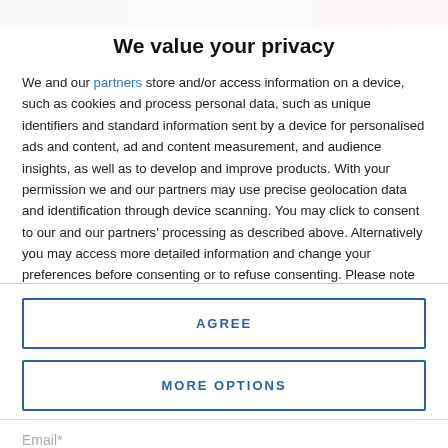[Figure (photo): Photo strip at top showing three image segments in dark tones]
We value your privacy
We and our partners store and/or access information on a device, such as cookies and process personal data, such as unique identifiers and standard information sent by a device for personalised ads and content, ad and content measurement, and audience insights, as well as to develop and improve products. With your permission we and our partners may use precise geolocation data and identification through device scanning. You may click to consent to our and our partners’ processing as described above. Alternatively you may access more detailed information and change your preferences before consenting or to refuse consenting. Please note that some processing of your personal data may not require your consent, but you have a right to
AGREE
MORE OPTIONS
Email*